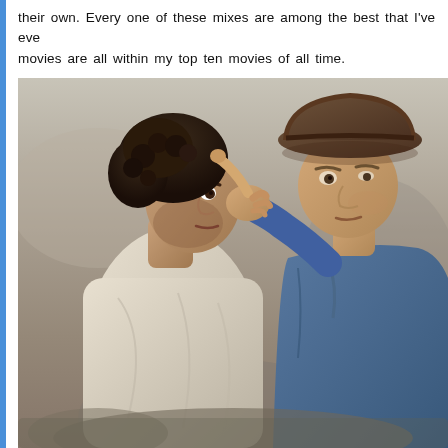their own. Every one of these mixes are among the best that I've eve movies are all within my top ten movies of all time.
[Figure (photo): Two men facing each other closely in what appears to be an outdoor rocky setting. The man on the left has curly dark hair and is wearing a white robe or wrap, looking sideways toward the man on the right. The man on the right is wearing a brown wide-brimmed fedora hat and a blue jacket, pointing his finger toward the other man's face. The scene appears to be from an Indiana Jones film.]